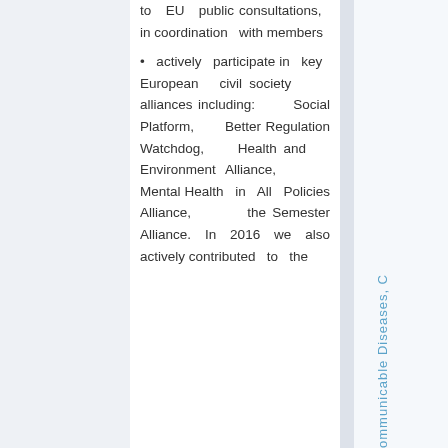to EU public consultations, in coordination with members
• actively participate in key European civil society alliances including: Social Platform, Better Regulation Watchdog, Health and Environment Alliance, Mental Health in All Policies Alliance, the Semester Alliance. In 2016 we also actively contributed to the
ommunicable Diseases, C